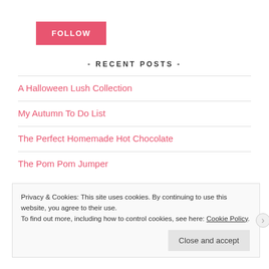FOLLOW
- RECENT POSTS -
A Halloween Lush Collection
My Autumn To Do List
The Perfect Homemade Hot Chocolate
The Pom Pom Jumper
Privacy & Cookies: This site uses cookies. By continuing to use this website, you agree to their use. To find out more, including how to control cookies, see here: Cookie Policy Close and accept